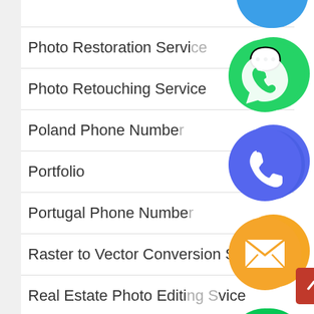Photo Restoration Service
Photo Retouching Service
Poland Phone Number
Portfolio
Portugal Phone Number
Raster to Vector Conversion Service
Real Estate Photo Editing Service
Remove Background Image
Russia Mobile Number
[Figure (infographic): Floating contact/social icons stacked vertically on the right side: WhatsApp (green), Phone (blue/purple), Email (orange), LINE (green), Viber (purple), Close/X (green)]